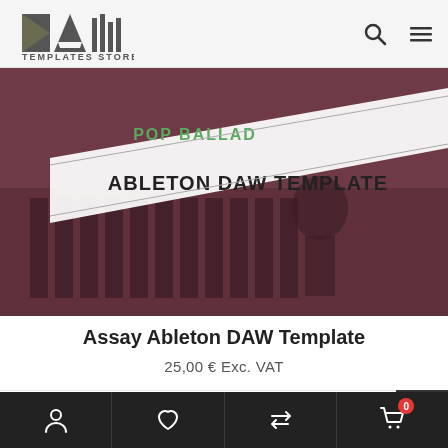DA Templates Store
[Figure (photo): Product banner image for Assay Ableton DAW Template showing 'POP BALLAD ABLETON DAW TEMPLATE' text over a dark red/maroon background with a silhouette of a person playing piano]
Assay Ableton DAW Template
25,00 € Exc. VAT
00:00  02:57
Account | Wishlist | Repeat | Cart (0)